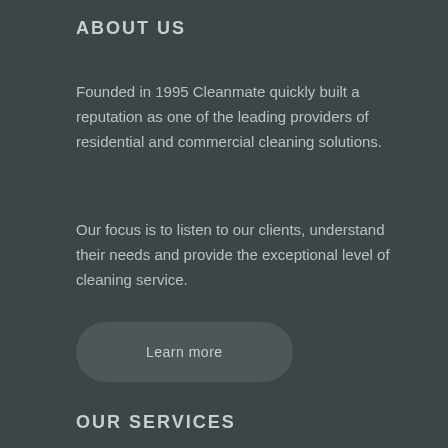ABOUT US
Founded in 1995 Cleanmate quickly built a reputation as one of the leading providers of residential and commercial cleaning solutions.
Our focus is to listen to our clients, understand their needs and provide the exceptional level of cleaning service.
Learn more
OUR SERVICES